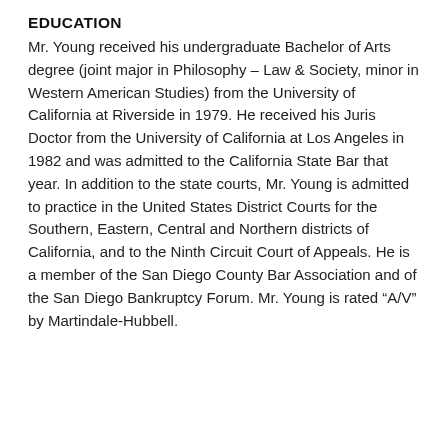EDUCATION
Mr. Young received his undergraduate Bachelor of Arts degree (joint major in Philosophy – Law & Society, minor in Western American Studies) from the University of California at Riverside in 1979. He received his Juris Doctor from the University of California at Los Angeles in 1982 and was admitted to the California State Bar that year. In addition to the state courts, Mr. Young is admitted to practice in the United States District Courts for the Southern, Eastern, Central and Northern districts of California, and to the Ninth Circuit Court of Appeals. He is a member of the San Diego County Bar Association and of the San Diego Bankruptcy Forum. Mr. Young is rated “A/V” by Martindale-Hubbell.